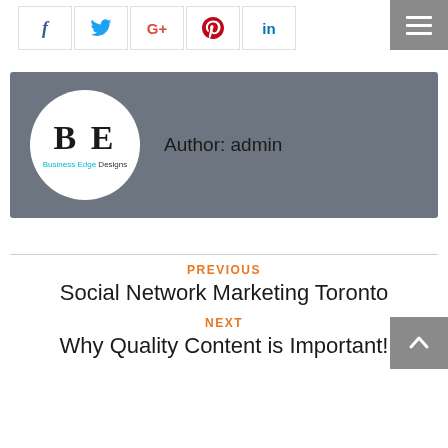[Figure (infographic): Social media share buttons: Facebook (f), Twitter (bird), Google+ (G+), Pinterest (pin icon), LinkedIn (in), and a hamburger menu button on the right]
[Figure (logo): Business Edge Designs logo in a white circle — letters BE in serif font with 'Business Edge Designs' text below in cyan and black]
Author: admin
PREVIOUS
Social Network Marketing Toronto
NEXT
Why Quality Content is Important!